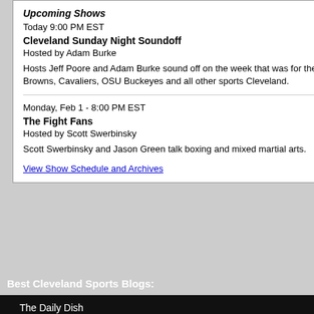Upcoming Shows
Today 9:00 PM EST
Cleveland Sunday Night Soundoff
Hosted by Adam Burke
Hosts Jeff Poore and Adam Burke sound off on the week that was for the Cleveland Browns, Cavaliers, OSU Buckeyes and all other sports Cleveland.
Monday, Feb 1 - 8:00 PM EST
The Fight Fans
Hosted by Scott Swerbinsky
Scott Swerbinsky and Jason Green talk boxing and mixed martial arts.
View Show Schedule and Archives
Best Cleveland Sports Blogs:
The Daily Dish
Cavs Random Thoughts
The DiaTribe
Indians Prospect Insider
Papa Cass
Cleveland Reboot
couple of others on my ballo... Wright State in lieu of Bullock... voters focused exclusively o...
Enjoy the Selection Shows o... we'll be reporting from one th... home).
Discuss Article on Me...
<< Go Back    Prin...